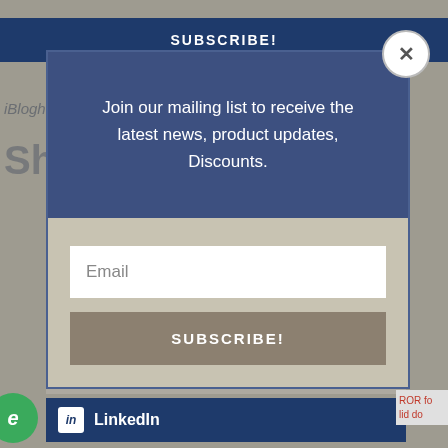[Figure (screenshot): Website popup modal overlay for newsletter subscription. Dark blue header section with white text: 'Join our mailing list to receive the latest news, product updates, Discounts.' Below is a tan/beige section with a white Email input field and a gray SUBSCRIBE! button. A white circular close (X) button is in the top-right corner. Background shows a blurred page with a SUBSCRIBE! button at top and partially visible social sharing buttons (Facebook, Pinterest, LinkedIn).]
Join our mailing list to receive the latest news, product updates, Discounts.
Email
SUBSCRIBE!
LinkedIn